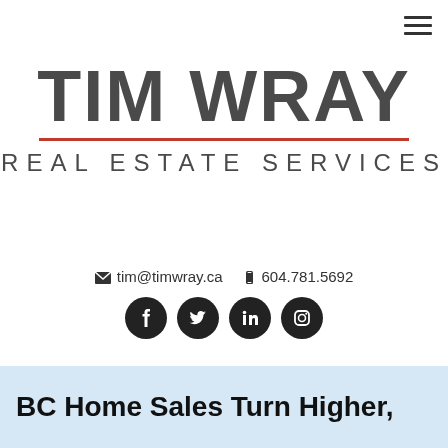[Figure (logo): Tim Wray Real Estate Services logo with large bold text, red horizontal divider, and subtitle]
tim@timwray.ca  604.781.5692
[Figure (infographic): Social media icons: Facebook, Twitter, LinkedIn, Instagram in black circles]
BC Home Sales Turn Higher,